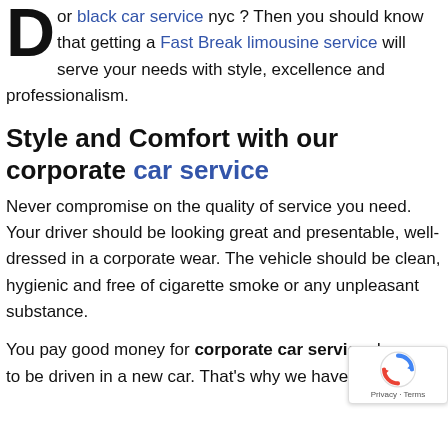D or black car service nyc ? Then you should know that getting a Fast Break limousine service will serve your needs with style, excellence and professionalism.
Style and Comfort with our corporate car service
Never compromise on the quality of service you need. Your driver should be looking great and presentable, well-dressed in a corporate wear. The vehicle should be clean, hygienic and free of cigarette smoke or any unpleasant substance.
You pay good money for corporate car service deserve to be driven in a new car. That's why we have